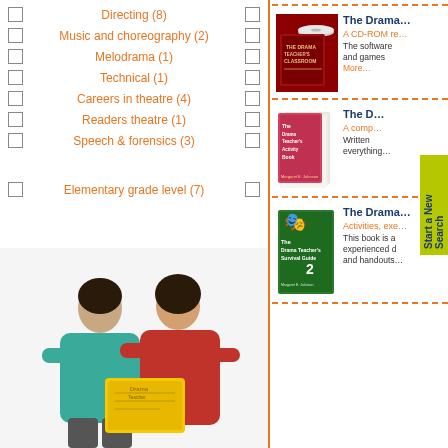Directing (8)
Music and choreography (2)
Melodrama (1)
Technical (1)
Careers in theatre (4)
Readers theatre (1)
Speech & forensics (3)
Elementary grade level (7)
[Figure (photo): Two people (adult and child) reading a yellow book together]
[Figure (photo): The Drama Teacher's Classroom CD-ROM product image]
The Drama...
A CD-ROM re...
The software and games More...
[Figure (photo): The Drama Teacher's Activity Book product image]
The D...
A comp...
Written everything...
[Figure (photo): The Drama Teacher's Survival Guide #2 book cover]
The Drama...
Activities, exe...
This book is a experienced d and handouts...